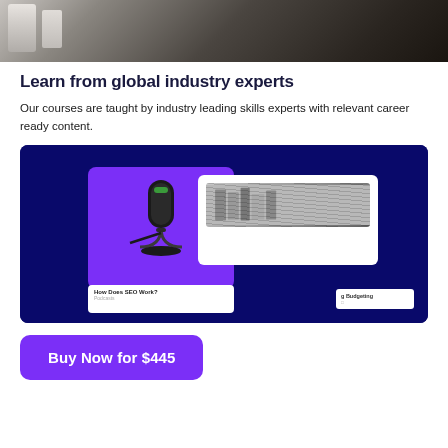[Figure (photo): Partial photo of a person in a dark sweater, cropped at top of page]
Learn from global industry experts
Our courses are taught by industry leading skills experts with relevant career ready content.
[Figure (screenshot): Screenshot of a course platform on a dark navy background showing course cards including 'How Does SEO Work?' with a microphone image on a purple card, and another card partially visible with 'g Budgeting' text]
Buy Now for $445